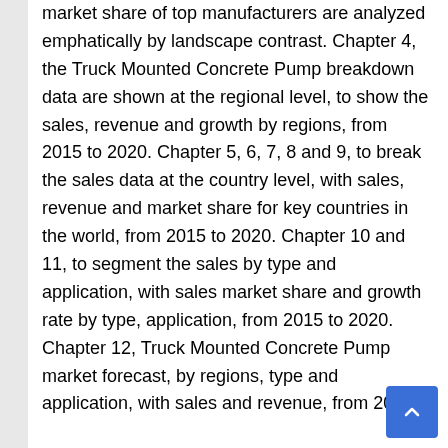market share of top manufacturers are analyzed emphatically by landscape contrast. Chapter 4, the Truck Mounted Concrete Pump breakdown data are shown at the regional level, to show the sales, revenue and growth by regions, from 2015 to 2020. Chapter 5, 6, 7, 8 and 9, to break the sales data at the country level, with sales, revenue and market share for key countries in the world, from 2015 to 2020. Chapter 10 and 11, to segment the sales by type and application, with sales market share and growth rate by type, application, from 2015 to 2020. Chapter 12, Truck Mounted Concrete Pump market forecast, by regions, type and application, with sales and revenue, from 2020